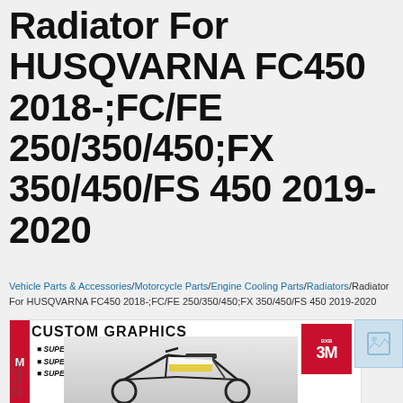Radiator For HUSQVARNA FC450 2018-;FC/FE 250/350/450;FX 350/450/FS 450 2019-2020
Vehicle Parts & Accessories/Motorcycle Parts/Engine Cooling Parts/Radiators/Radiator For HUSQVARNA FC450 2018-;FC/FE 250/350/450;FX 350/450/FS 450 2019-2020
[Figure (photo): Product listing image showing a motorcycle with custom graphics banner. Banner reads 'CUSTOM GRAPHICS' with features: SUPER THICK, SUPER STICKY, SUPER DURABLE and 3M logo badge.]